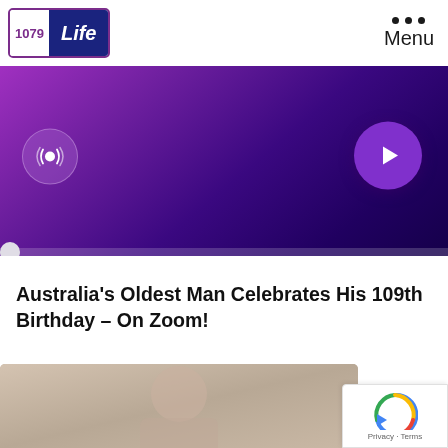[Figure (logo): 1079 Life radio station logo — white background with purple border, showing '1079' in purple and 'Life' in italic white text on dark navy background]
Menu
[Figure (screenshot): Radio player banner with purple-to-dark-purple gradient background. Left side shows a circular live broadcast icon (radio waves symbol). Right side shows a bright purple circular play button with a white triangle. A progress bar runs along the bottom with a light grey circular thumb on the far left.]
Australia’s Oldest Man Celebrates His 109th Birthday – On Zoom!
[Figure (photo): Partial view of an elderly person, cropped at bottom of page. Beige/tan background. Person appears to have reddish-grey hair and is in profile/three-quarter view.]